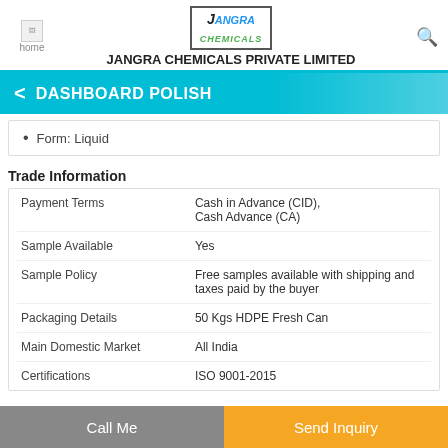JANGRA CHEMICALS PRIVATE LIMITED
DASHBOARD POLISH
Form: Liquid
Trade Information
|  |  |
| --- | --- |
| Payment Terms | Cash in Advance (CID), Cash Advance (CA) |
| Sample Available | Yes |
| Sample Policy | Free samples available with shipping and taxes paid by the buyer |
| Packaging Details | 50 Kgs HDPE Fresh Can |
| Main Domestic Market | All India |
| Certifications | ISO 9001-2015 |
Call Me | Send Inquiry